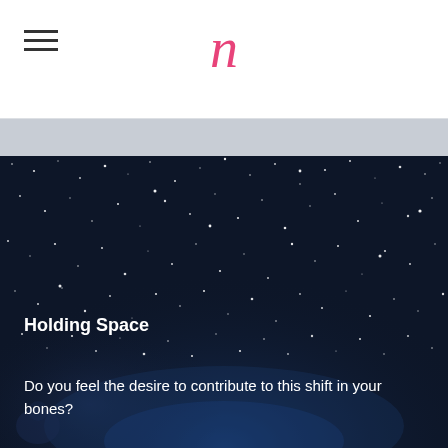n
[Figure (photo): Night sky with stars, deep dark blue background with scattered white star points and a faint milky way glow at the bottom center. A faint silhouette of a person or landscape is visible at lower left.]
Holding Space
Do you feel the desire to contribute to this shift in your bones?